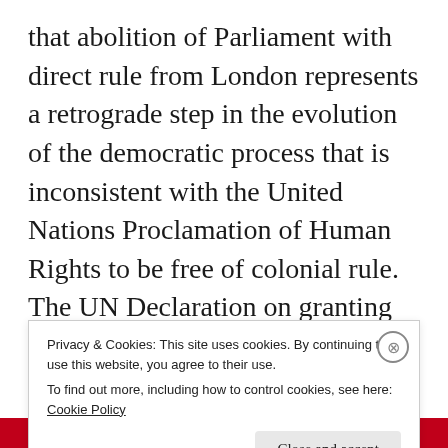that abolition of Parliament with direct rule from London represents a retrograde step in the evolution of the democratic process that is inconsistent with the United Nations Proclamation of Human Rights to be free of colonial rule. The UN Declaration on granting independence to colonial countries and peoples – Resolution 1514 of 1960 is an international commitment to
Privacy & Cookies: This site uses cookies. By continuing to use this website, you agree to their use.
To find out more, including how to control cookies, see here: Cookie Policy
Close and accept